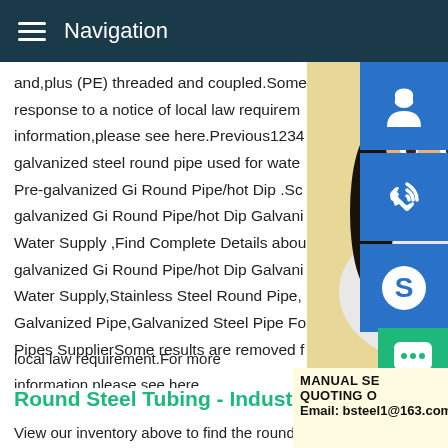Navigation
and,plus (PE) threaded and coupled.Some response to a notice of local law requirements information,please see here.Previous1234 galvanized steel round pipe used for water Pre-galvanized Gi Round Pipe/hot Dip .Some galvanized Gi Round Pipe/hot Dip Galvanized Water Supply ,Find Complete Details about galvanized Gi Round Pipe/hot Dip Galvanized Water Supply,Stainless Steel Round Pipe, Galvanized Pipe,Galvanized Steel Pipe For Pipes SupplierSome results are removed from local law requirement.For more information,please see here.
[Figure (photo): Photo of a woman wearing a headset, customer service representative]
[Figure (infographic): Blue icon buttons: customer support headset icon, phone/call icon, Skype icon]
[Figure (infographic): Yellow box with text: MANUAL SERVICE, QUOTING ON, Email: bsteel1@163.com]
Round Steel Tubing - Industrial Metal Supply
View our inventory above to find the round steel tubing you need, use the filters at left to narrow your search.Your #1 Source for Round Steel Tubing - Industrial Metal Supply...